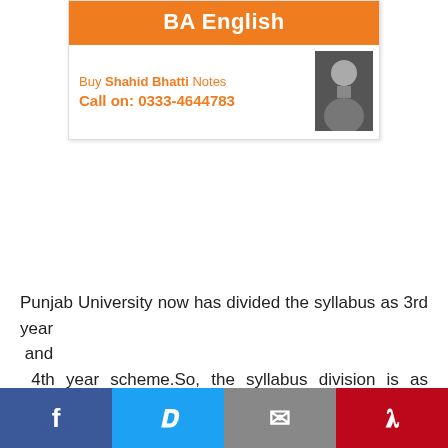[Figure (other): BA English promotional banner with orange header, 'Buy Shahid Bhatti Notes' and 'Call on: 0333-4644783', with a man's photo on the right.]
Punjab University now has divided the syllabus as 3rd year
 and
 4th year scheme.So, the syllabus division is as follows:
Facebook | Twitter | Email | Pinterest social share bar